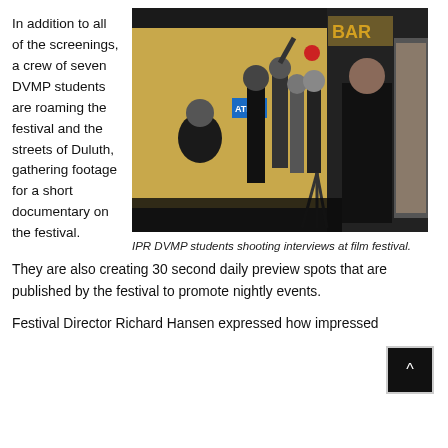In addition to all of the screenings, a crew of seven DVMP students are roaming the festival and the streets of Duluth, gathering footage for a short documentary on the festival. They are also creating 30 second daily preview spots that are published by the festival to promote nightly events.
[Figure (photo): Group of DVMP students with camera equipment shooting interviews at a film festival venue with a bar sign visible in the background.]
IPR DVMP students shooting interviews at film festival.
Festival Director Richard Hansen expressed how impressed